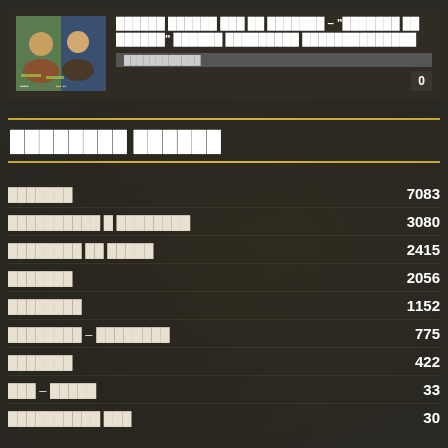[Figure (photo): Article thumbnail showing two people at an event, one wearing glasses and one in a dark top, with colorful background]
Article title in non-Latin script with quoted subtitle
Tagged label block (redacted)
0
Section header in non-Latin script
Category 1 — 7083
Category 2 — 3080
Category 3 — 2415
Category 4 — 2056
Category 5 — 1152
Category 6 — 775
Category 7 — 422
Category 8 — 33
Category 9 — 30